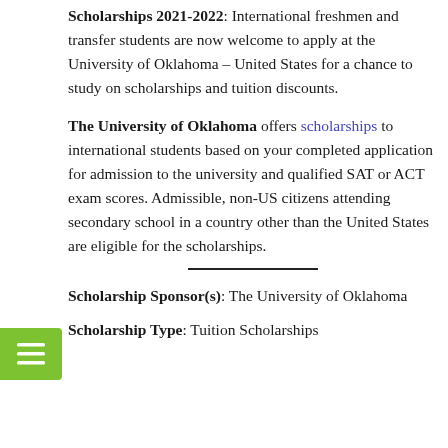Scholarships 2021-2022: International freshmen and transfer students are now welcome to apply at the University of Oklahoma – United States for a chance to study on scholarships and tuition discounts.
The University of Oklahoma offers scholarships to international students based on your completed application for admission to the university and qualified SAT or ACT exam scores. Admissible, non-US citizens attending secondary school in a country other than the United States are eligible for the scholarships.
Scholarship Sponsor(s): The University of Oklahoma
Scholarship Type: Tuition Scholarships